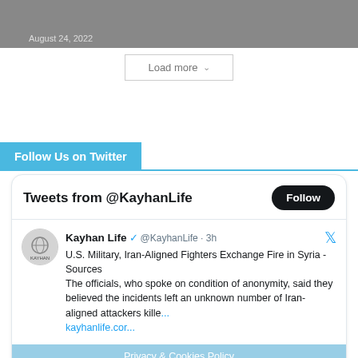[Figure (screenshot): Top portion of a webpage article image (cropped), showing a dark gray photo area with date text 'August 24, 2022' in light gray at bottom-left.]
August 24, 2022
[Figure (screenshot): A 'Load more' button with a downward chevron arrow, centered on the page, with a light gray border.]
Load more ∨
Follow Us on Twitter
[Figure (screenshot): Embedded Twitter/X widget showing 'Tweets from @KayhanLife' header with a Follow button. Below is a tweet from Kayhan Life (@KayhanLife · 3h) with a blue verified checkmark and a Twitter bird icon. The tweet text reads: 'U.S. Military, Iran-Aligned Fighters Exchange Fire in Syria -Sources The officials, who spoke on condition of anonymity, said they believed the incidents left an unknown number of Iran-aligned attackers kille...' with a link starting 'kayhanlife.cor...' A semi-transparent blue 'Privacy & Cookies Policy' overlay bar appears at the bottom.]
Tweets from @KayhanLife
Kayhan Life ✓ @KayhanLife · 3h
U.S. Military, Iran-Aligned Fighters Exchange Fire in Syria -Sources
The officials, who spoke on condition of anonymity, said they believed the incidents left an unknown number of Iran-aligned attackers kille...
kayhanlife.cor...
Privacy & Cookies Policy